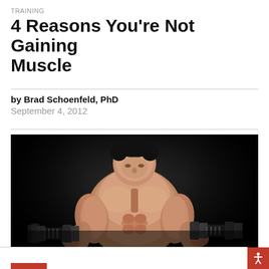TRAINING
4 Reasons You're Not Gaining Muscle
by Brad Schoenfeld, PhD
September 4, 2012
[Figure (photo): Muscular shirtless male bodybuilder holding dumbbells on dark background, viewed from slightly below looking up]